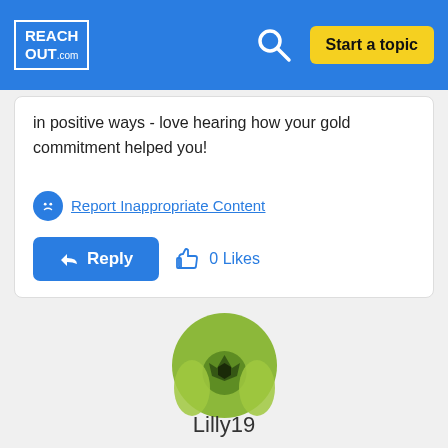[Figure (logo): ReachOut.com logo in white on blue background with border]
in positive ways - love hearing how your gold commitment helped you!
Report Inappropriate Content
Reply  0 Likes
[Figure (photo): Circular avatar of user Lilly19 showing a green soccer ball graphic]
Lilly19